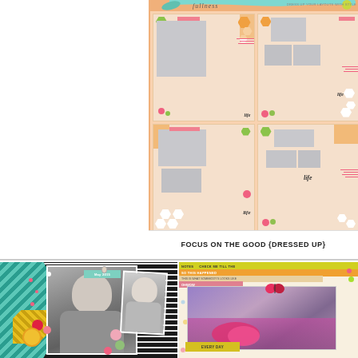[Figure (illustration): Digital scrapbooking product preview showing four page layout templates named 'Focus on the Good {Dressed Up}' with hexagon and floral decorative elements on a peach/orange background. Templates show placeholders for photos with 'life' word art and colorful hex/floral accents in green, orange, pink, and white.]
FOCUS ON THE GOOD {DRESSED UP}
[Figure (photo): Digital scrapbook layout featuring black and white photos of a girl, with colorful geometric patterned papers in teal chevron and yellow diamond patterns, red and peach paper flowers, sunflower, and a teal tag label.]
[Figure (photo): Colorful digital scrapbook layout with polka dot background, purple-toned photo with stuffed animals/owls, butterfly embellishment, yellow and orange header strips with text, and a yellow tag at bottom.]